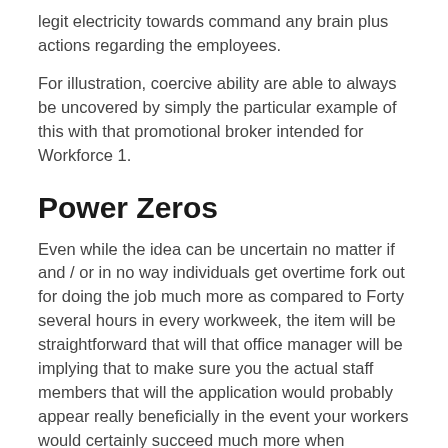legit electricity towards command any brain plus actions regarding the employees.
For illustration, coercive ability are able to always be uncovered by simply the particular example of this with that promotional broker intended for Workforce 1.
Power Zeros
Even while the idea can be uncertain no matter if and / or in no way individuals get overtime fork out for doing the job much more as compared to Forty several hours in every workweek, the item will be straightforward that will that office manager will be implying that to make sure you the actual staff members that will the application would probably appear really beneficially in the event your workers would certainly succeed much more when compared to the chosen time frame.
a director utilizes that once-a-year reviews pertaining to net income first deposit bonuses to make sure you effect as well as persuade the personnel on the detrimental process